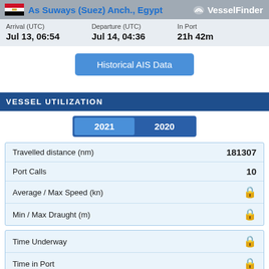As Suways (Suez) Anch., Egypt — VesselFinder
| Arrival (UTC) | Departure (UTC) | In Port |
| --- | --- | --- |
| Jul 13, 06:54 | Jul 14, 04:36 | 21h 42m |
Historical AIS Data
VESSEL UTILIZATION
2021  2020
|  |  |
| --- | --- |
| Travelled distance (nm) | 181307 |
| Port Calls | 10 |
| Average / Max Speed (kn) | 🔒 |
| Min / Max Draught (m) | 🔒 |
|  |  |
| --- | --- |
| Time Underway | 🔒 |
| Time in Port | 🔒 |
| Time at Anchor | 🔒 |
| Idle Time | 🔒 |